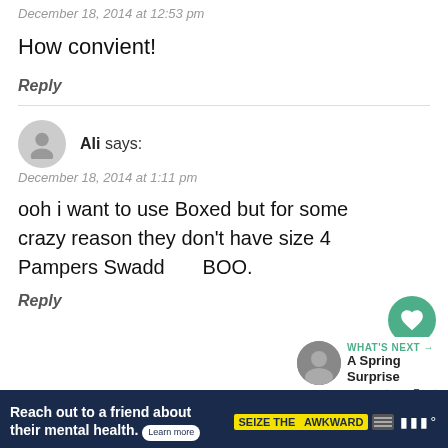December 18, 2014 at 12:53 pm
How convient!
Reply
Ali says:
December 18, 2014 at 1:11 pm
ooh i want to use Boxed but for some crazy reason they don't have size 4 Pampers Swaddlers BOO.
Reply
WHAT'S NEXT → A Spring Surprise
Reach out to a friend about their mental health. Learn more | SEIZE THE AWKWARD